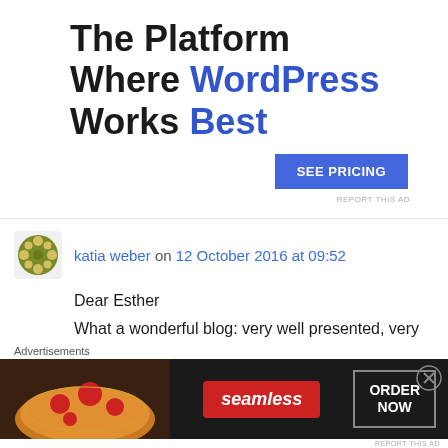[Figure (infographic): WordPress hosting advertisement: 'The Platform Where WordPress Works Best' with a blue 'SEE PRICING' button and 'REPORT THIS AD' text]
katia weber on 12 October 2016 at 09:52
Dear Esther
What a wonderful blog: very well presented, very interesting posts and videos, beautiful photos. Thank you for sharing your talent and
Advertisements
[Figure (infographic): Seamless food delivery advertisement showing pizza image, red Seamless logo, and ORDER NOW button]